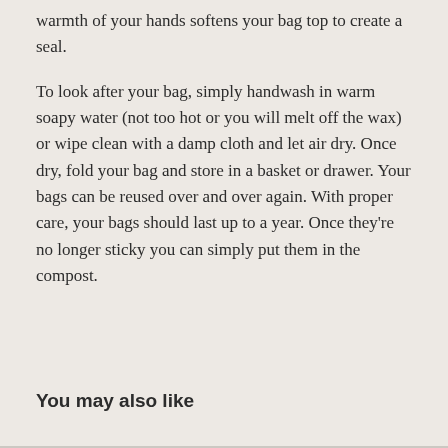warmth of your hands softens your bag top to create a seal.
To look after your bag, simply handwash in warm soapy water (not too hot or you will melt off the wax) or wipe clean with a damp cloth and let air dry. Once dry, fold your bag and store in a basket or drawer. Your bags can be reused over and over again. With proper care, your bags should last up to a year. Once they’re no longer sticky you can simply put them in the compost.
You may also like